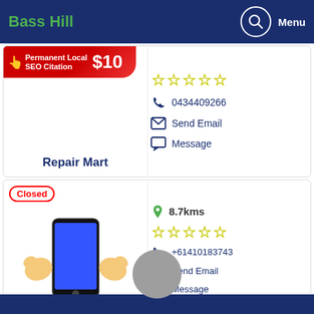Bass Hill | Menu
[Figure (screenshot): Promotional banner: Permanent Local SEO Citation $10]
[Figure (illustration): Stars rating (empty), phone 0434409266, Send Email, Message icons for Repair Mart listing]
Repair Mart
[Figure (illustration): Closed badge with cartoon phone with muscles illustration. 8.7kms distance, star rating, +61410183743, Send Email, Message, Visit Website]
Anytime phones